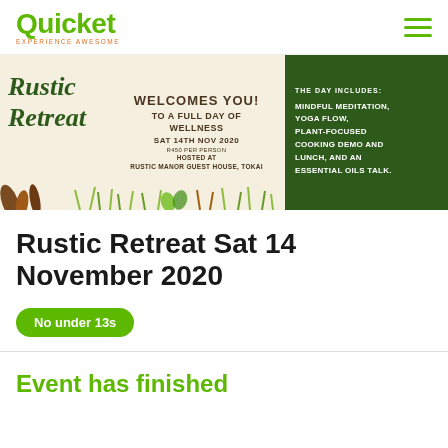Quicket EXPERIENCE AWESOME
[Figure (illustration): Rustic Retreat event banner. Left cream section with 'Rustic Retreat' in dark green italic script, decorative plant illustrations. Center text: 'WELCOMES YOU! TO A FULL DAY OF WELLNESS SAT 14TH NOV 2020 R450 PER PERSON HOSTED AT RUSTIC MANOR GUEST HOUSE, TOKAI'. Right dark green section: 'THE DAY INCLUDES: MINDFUL MEDITATION, YOGA FLOW, PLANT-FOCUSED COOKING DEMO AND LUNCH, AND AN ESSENTIAL OILS TALK.']
Rustic Retreat Sat 14 November 2020
No under 13s
Event has finished